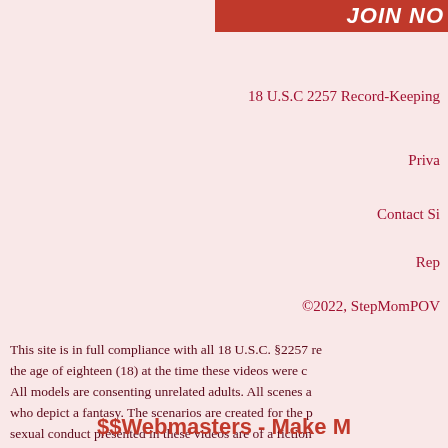[Figure (photo): Top banner image showing a person in red, partially cropped, with bold stylized text overlay reading 'JOIN NOW' or similar]
18 U.S.C 2257 Record-Keeping
Privacy
Contact Si
Rep
©2022, StepMomPOV
This site is in full compliance with all 18 U.S.C. §2257 re the age of eighteen (18) at the time these videos were c All models are consenting unrelated adults. All scenes a who depict a fantasy. The scenarios are created for the p sexual conduct presented in these videos are of a fiction related in any way . They are fully informed and consent
$$Webmasters - Make M